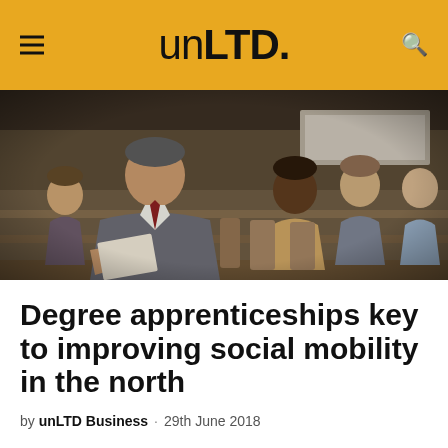unLTD.
[Figure (photo): People sitting in a lecture hall or conference room, with a man in a grey suit and red tie in the foreground looking down, and several other attendees visible in the background.]
Degree apprenticeships key to improving social mobility in the north
by unLTD Business · 29th June 2018